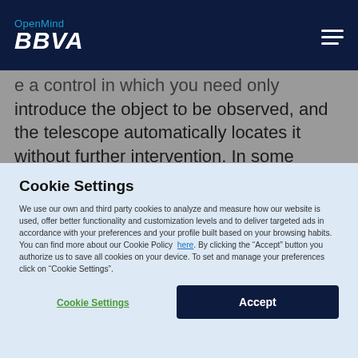OpenMind BBVA
e a control in which you need only introduce the object to be observed, and the telescope automatically locates it without further intervention. In some versions the screen also gives information about the observed celestial object
Cookie Settings
We use our own and third party cookies to analyze and measure how our website is used, offer better functionality and customization levels and to deliver targeted ads in accordance with your preferences and your profile built based on your browsing habits. You can find more about our Cookie Policy here. By clicking the “Accept” button you authorize us to save all cookies on your device. To set and manage your preferences click on “Cookie Settings”.
Cookie Settings | Accept